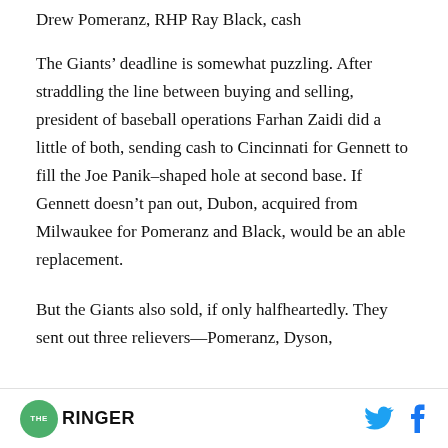Drew Pomeranz, RHP Ray Black, cash
The Giants’ deadline is somewhat puzzling. After straddling the line between buying and selling, president of baseball operations Farhan Zaidi did a little of both, sending cash to Cincinnati for Gennett to fill the Joe Panik–shaped hole at second base. If Gennett doesn’t pan out, Dubon, acquired from Milwaukee for Pomeranz and Black, would be an able replacement.
But the Giants also sold, if only halfheartedly. They sent out three relievers—Pomeranz, Dyson,
THE RINGER